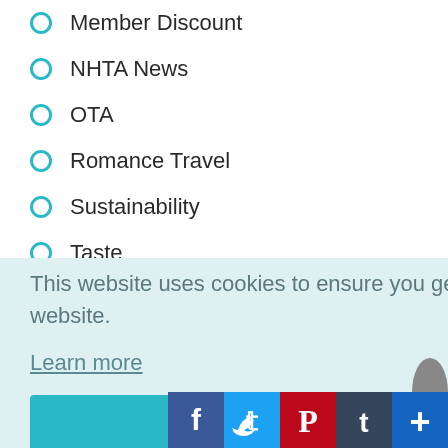Member Discount
NHTA News
OTA
Romance Travel
Sustainability
Taste
Tourist Boards
ARCHIVES
This website uses cookies to ensure you get the best experience on our website.
Learn more
Got it!